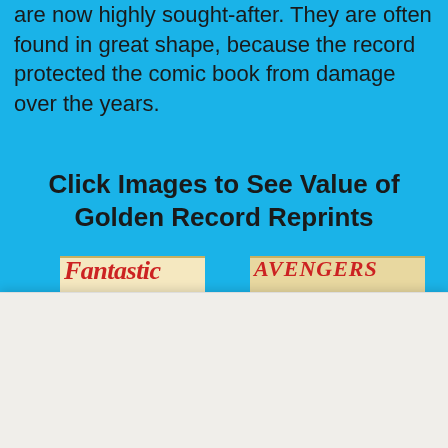are now highly sought-after. They are often found in great shape, because the record protected the comic book from damage over the years.
Click Images to See Value of Golden Record Reprints
[Figure (illustration): Partial comic book covers visible at bottom: Fantastic Four on left and Avengers on right]
Want to SELL YOUR COMIC BOOKS or GET FREE BUYING ADVICE?
SELL MY COMICS
BUY COMICS